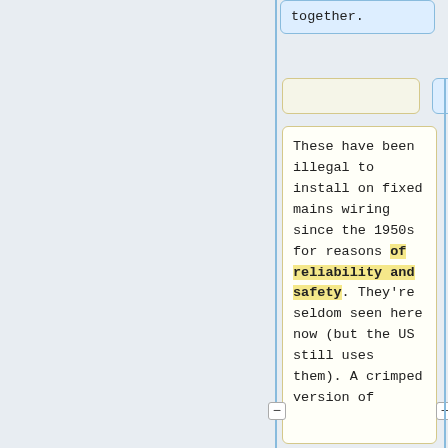together.
These have been illegal to install on fixed mains wiring since the 1950s for reasons of reliability and safety. They're seldom seen here now (but the US still uses them). A crimped version of
These have been illegal to install on fixed mains wiring since the 1950s for safety reasons. They're seldom seen here now (but the US still uses them). A crimped version of these is